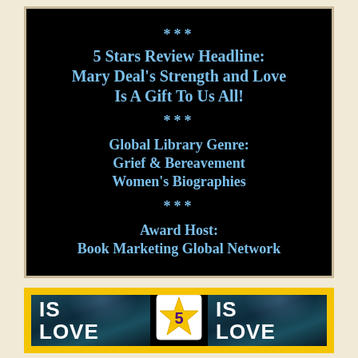[Figure (infographic): Black background promotional panel with blue text showing 5-star review headline, global library genre, and award host information for a book called Grief Is Love]
[Figure (infographic): Yellow-bordered panel showing two copies of the book cover 'Grief Is Love' on black background with a 5-star badge in the center]